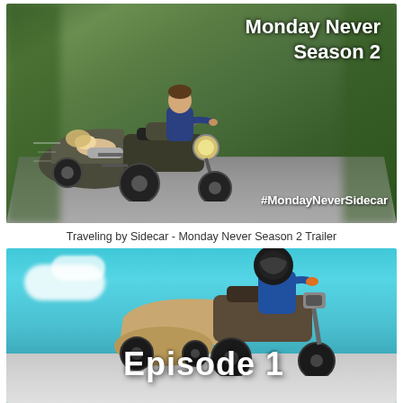[Figure (photo): Photo of a man riding a military-style motorcycle with sidecar on a tree-lined road, woman reclined in sidecar. Text overlay: 'Monday Never Season 2' and '#MondayNeverSidecar']
Traveling by Sidecar - Monday Never Season 2 Trailer
[Figure (photo): Photo of a helmeted rider on a motorcycle with sidecar against a bright blue sky with clouds. Text overlay: 'Episode 1']